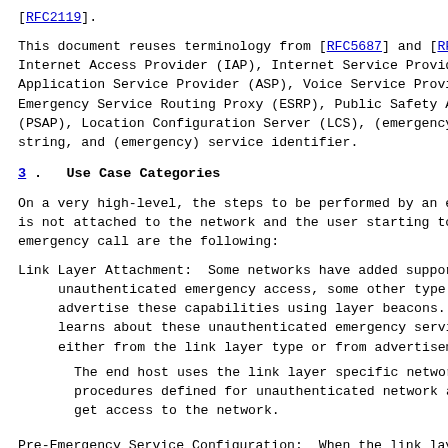[RFC2119].
This document reuses terminology from [RFC5687] and [RF... Internet Access Provider (IAP), Internet Service Provid... Application Service Provider (ASP), Voice Service Provi... Emergency Service Routing Proxy (ESRP), Public Safety A... (PSAP), Location Configuration Server (LCS), (emergency... string, and (emergency) service identifier.
3.  Use Case Categories
On a very high-level, the steps to be performed by an e... is not attached to the network and the user starting to... emergency call are the following:
Link Layer Attachment:  Some networks have added suppor... unauthenticated emergency access, some other type of... advertise these capabilities using layer beacons.  T... learns about these unauthenticated emergency service... either from the link layer type or from advertisemen...
The end host uses the link layer specific network at... procedures defined for unauthenticated network acces... get access to the network.
Pre-Emergency Service Configuration:  When the link lay... attachment procedure is completed the end host learn... configuration information using DHCP from the ISP.  ... uses a Location Configuration Protocol (LCP) to retr...